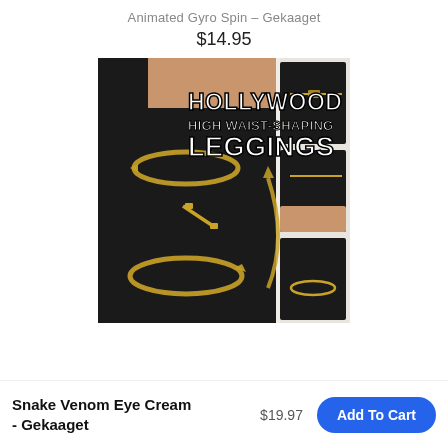Animated Gyro Spin – Gekaaget
$14.95
[Figure (photo): Product listing image for Hollywood High Waist-Shaping Leggings. Shows a woman wearing black high-waist leggings with a gold zipper detail and gold ring graphic overlays around the waist and thigh. Text overlay reads 'HOLLYWOOD HIGH WAIST-SHAPING LEGGINGS'. Thumbnail images on the right show alternate views.]
Snake Venom Eye Cream - Gekaaget
$19.97
Add To Cart